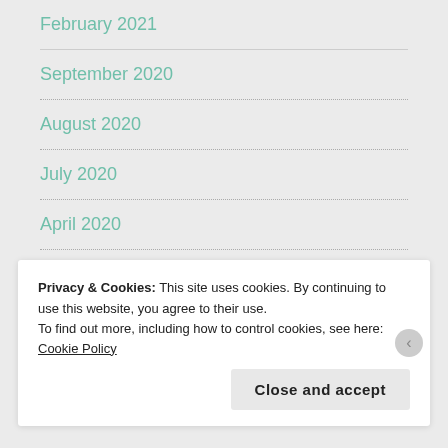February 2021
September 2020
August 2020
July 2020
April 2020
December 2019
August 2019
Privacy & Cookies: This site uses cookies. By continuing to use this website, you agree to their use.
To find out more, including how to control cookies, see here: Cookie Policy
Close and accept